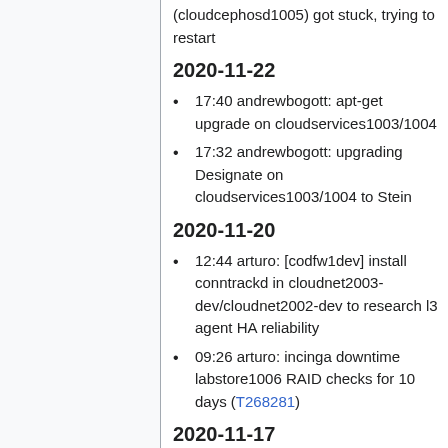(cloudcephosd1005) got stuck, trying to restart
2020-11-22
17:40 andrewbogott: apt-get upgrade on cloudservices1003/1004
17:32 andrewbogott: upgrading Designate on cloudservices1003/1004 to Stein
2020-11-20
12:44 arturo: [codfw1dev] install conntrackd in cloudnet2003-dev/cloudnet2002-dev to research l3 agent HA reliability
09:26 arturo: incinga downtime labstore1006 RAID checks for 10 days (T268281)
2020-11-17